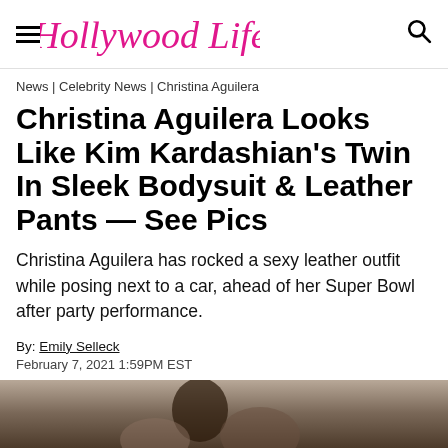Hollywood Life
News | Celebrity News | Christina Aguilera
Christina Aguilera Looks Like Kim Kardashian's Twin In Sleek Bodysuit & Leather Pants — See Pics
Christina Aguilera has rocked a sexy leather outfit while posing next to a car, ahead of her Super Bowl after party performance.
By: Emily Selleck
February 7, 2021 1:59PM EST
[Figure (photo): Bottom strip showing partial photo of people, cropped at bottom of page]